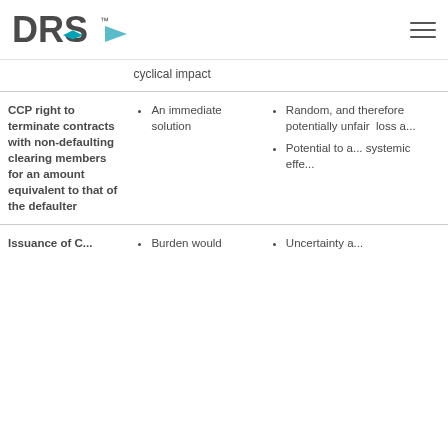DRS™
cyclical impact
CCP right to terminate contracts with non-defaulting clearing members for an amount equivalent to that of the defaulter
An immediate solution
Random, and therefore potentially unfair loss a...
Potential to a... systemic effe...
Issuance of C...
Burden would
Uncertainty a...